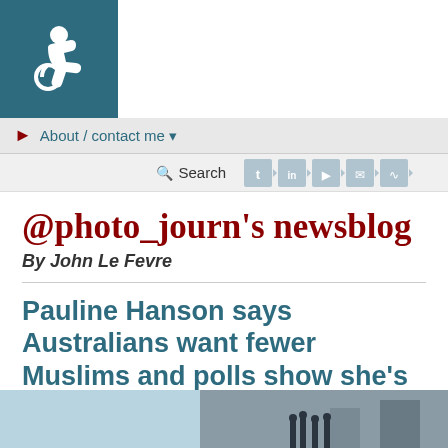[Figure (logo): Accessibility wheelchair icon on dark teal background]
About / contact me ▼
Search [social icons: Twitter, LinkedIn, YouTube, Email, RSS]
@photo_journ's newsblog
By John Le Fevre
Pauline Hanson says Australians want fewer Muslims and polls show she's right
By John Le Fevre on August 24, 2007
[Figure (photo): Two partial photographs at the bottom of the page — a light blue toned image on the left and a group of people standing outdoors on the right]